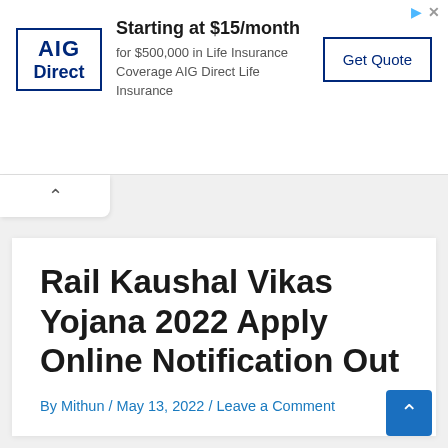[Figure (other): AIG Direct advertisement banner: logo on left with 'AIG Direct' in a box, ad copy 'Starting at $15/month for $500,000 in Life Insurance Coverage AIG Direct Life Insurance', and a 'Get Quote' button on the right.]
Rail Kaushal Vikas Yojana 2022 Apply Online Notification Out
By Mithun / May 13, 2022 / Leave a Comment